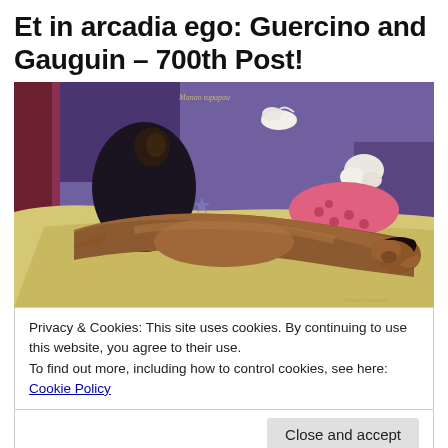Et in arcadia ego: Guercino and Gauguin – 700th Post!
[Figure (photo): A reproduction of Paul Gauguin's painting 'Spirit of the Dead Watching' (Manao tupapau), showing a nude woman lying face-down on a bed with a dark cloaked figure seated in the background against a purple/violet background with spirits and white flowers.]
Privacy & Cookies: This site uses cookies. By continuing to use this website, you agree to their use.
To find out more, including how to control cookies, see here: Cookie Policy
Close and accept